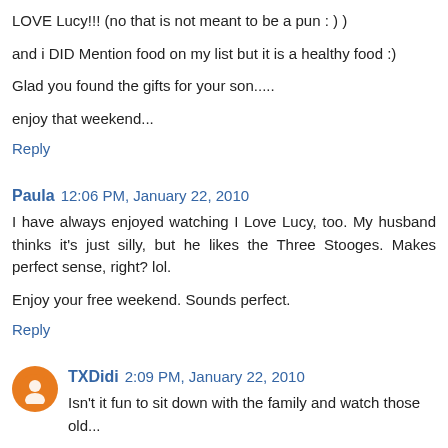LOVE Lucy!!! (no that is not meant to be a pun : ) )
and i DID Mention food on my list but it is a healthy food :)
Glad you found the gifts for your son.....
enjoy that weekend...
Reply
Paula  12:06 PM, January 22, 2010
I have always enjoyed watching I Love Lucy, too. My husband thinks it's just silly, but he likes the Three Stooges. Makes perfect sense, right? lol.
Enjoy your free weekend. Sounds perfect.
Reply
TXDidi  2:09 PM, January 22, 2010
Isn't it fun to sit down with the family and watch those old...